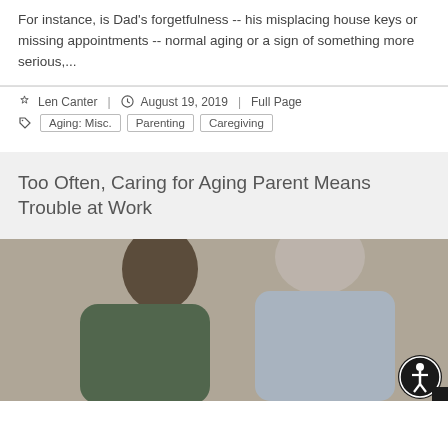For instance, is Dad's forgetfulness -- his misplacing house keys or missing appointments -- normal aging or a sign of something more serious,...
Len Canter | August 19, 2019 | Full Page
Aging: Misc. | Parenting | Caregiving
Too Often, Caring for Aging Parent Means Trouble at Work
[Figure (photo): A younger person with dark hair leaning over beside an older person with grey hair, both viewed from behind/side, caregiving context.]